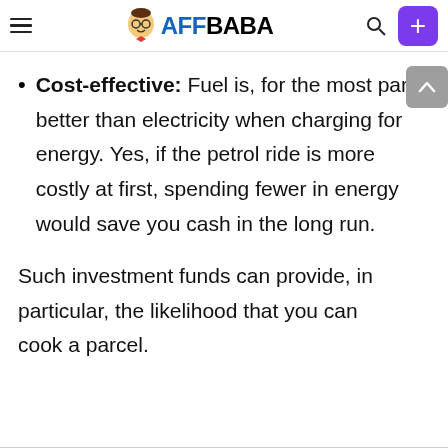AFFBABA
Cost-effective: Fuel is, for the most part, better than electricity when charging for energy. Yes, if the petrol ride is more costly at first, spending fewer in energy would save you cash in the long run.
Such investment funds can provide, in particular, the likelihood that you can cook a parcel.